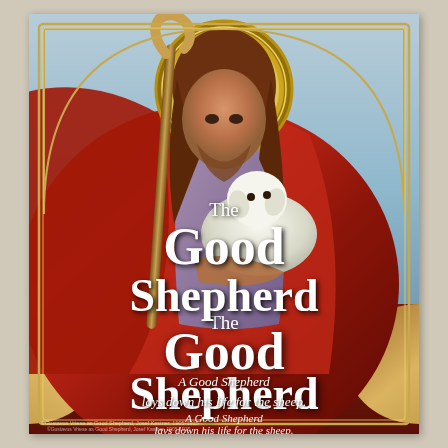[Figure (illustration): Religious painting of Jesus as the Good Shepherd, holding a lamb in his arms and a shepherd's staff, with a golden halo, wearing red cloak and purple robe, trees in background, with decorative gold border and arch frame.]
The Good Shepherd
A Good Shepherd lays down his life for the sheep.
©Gustavus Vriese as Good Shepherd, Josef Kastner, 1905-1915